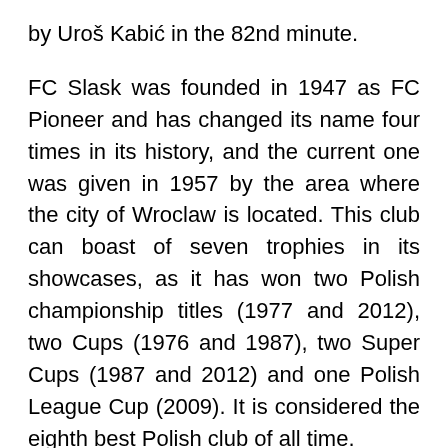by Uroš Kabić in the 82nd minute.
FC Slask was founded in 1947 as FC Pioneer and has changed its name four times in its history, and the current one was given in 1957 by the area where the city of Wroclaw is located. This club can boast of seven trophies in its showcases, as it has won two Polish championship titles (1977 and 2012), two Cups (1976 and 1987), two Super Cups (1987 and 2012) and one Polish League Cup (2009). It is considered the eighth best Polish club of all time.
In Europe, Slask achieved its greatest success in 1977, reaching the quarterfinals of the former Cup Winners' Cup, when it was eliminated by Napoli. In the previous ten years, Slask, just like